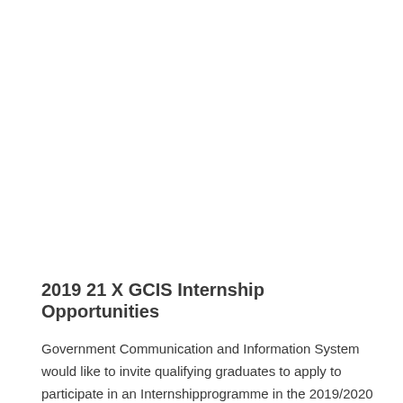2019 21 X GCIS Internship Opportunities
Government Communication and Information System would like to invite qualifying graduates to apply to participate in an Internshipprogramme in the 2019/2020 financial year. The